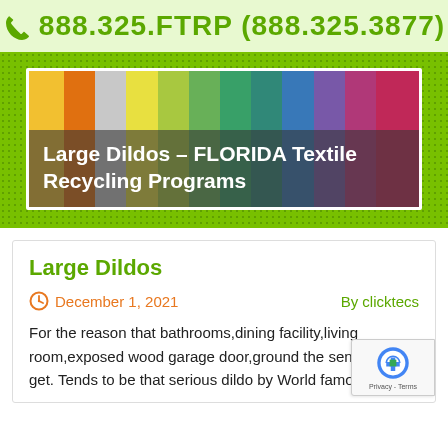888.325.FTRP (888.325.3877)
[Figure (photo): Colorful textile fabrics banner with overlay title: Large Dildos - FLORIDA Textile Recycling Programs]
Large Dildos
December 1, 2021   By clicktecs
For the reason that bathrooms,dining facility,living room,exposed wood garage door,ground the sensation get. Tends to be that serious dildo by World famous